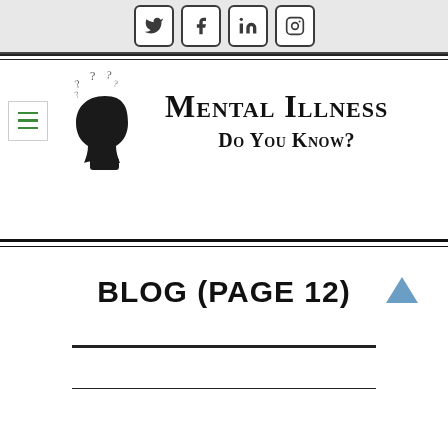Social media icons: Twitter, Facebook, LinkedIn, Instagram
[Figure (logo): Silhouette of a head with question marks above it, representing mental illness awareness logo]
Mental Illness Do You Know?
BLOG (PAGE 12)